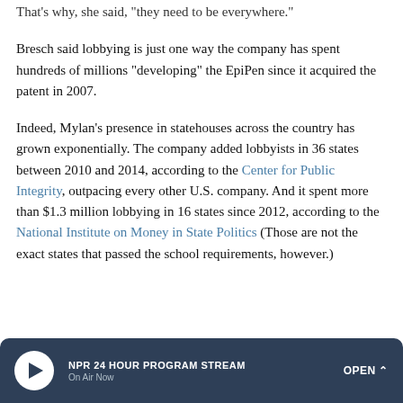That's why, she said, "they need to be everywhere."
Bresch said lobbying is just one way the company has spent hundreds of millions "developing" the EpiPen since it acquired the patent in 2007.
Indeed, Mylan's presence in statehouses across the country has grown exponentially. The company added lobbyists in 36 states between 2010 and 2014, according to the Center for Public Integrity, outpacing every other U.S. company. And it spent more than $1.3 million lobbying in 16 states since 2012, according to the National Institute on Money in State Politics (Those are not the exact states that passed the school requirements, however.)
NPR 24 HOUR PROGRAM STREAM
On Air Now
OPEN